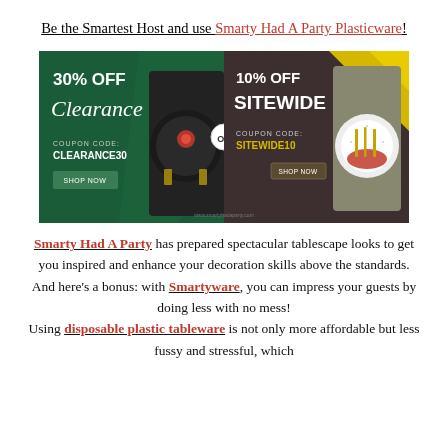Be the Smartest Host and use Smarty Had A Party Plasticware!
[Figure (infographic): Two promotional banner ads side by side. Left: dark green background, '30% OFF Clearance', coupon code CLEARANCE30, SHOP NOW button, photo of dark plate with pink flower. Right: dark gray/brown background, yellow geometric accents, '10% OFF SITEWIDE', coupon code SITEWIDE10, SHOP NOW button, photo of white and gold plate with red napkin and gold cutlery.]
Smarty Had A Party has prepared spectacular tablescape looks to get you inspired and enhance your decoration skills above the standards. And here's a bonus: with Smartyware, you can impress your guests by doing less with no mess! Using disposable plastic tableware is not only more affordable but less fussy and stressful, which